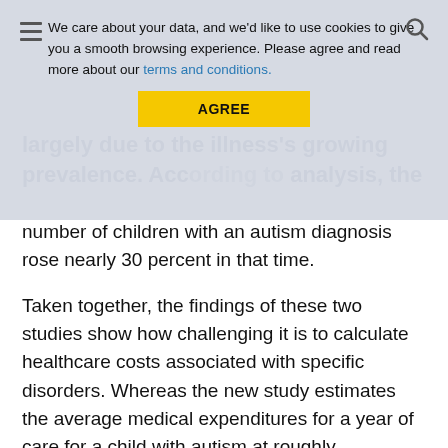[Figure (screenshot): Cookie consent banner overlay with hamburger menu icon on top-left, search icon on top-right, cookie notice text with 'terms and conditions' link in blue, and yellow AGREE button]
largely due to the illness's growing prevalence. According to analysis, the number of children with an autism diagnosis rose nearly 30 percent in that time.
Taken together, the findings of these two studies show how challenging it is to calculate healthcare costs associated with specific disorders. Whereas the new study estimates the average medical expenditures for a year of care for a child with autism at roughly $10,000, the previous study put that figure at